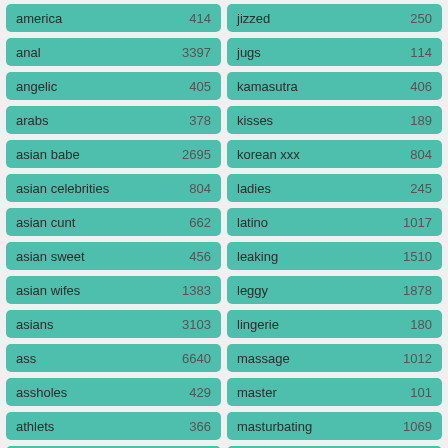| keyword | count |
| --- | --- |
| america | 414 |
| jizzed | 250 |
| anal | 3397 |
| jugs | 114 |
| angelic | 405 |
| kamasutra | 406 |
| arabs | 378 |
| kisses | 189 |
| asian babe | 2695 |
| korean xxx | 804 |
| asian celebrities | 804 |
| ladies | 245 |
| asian cunt | 662 |
| latino | 1017 |
| asian sweet | 456 |
| leaking | 1510 |
| asian wifes | 1383 |
| leggy | 1878 |
| asians | 3103 |
| lingerie | 180 |
| ass | 6640 |
| massage | 1012 |
| assholes | 429 |
| master | 101 |
| athlets | 366 |
| masturbating | 1069 |
| babysitter porn | 315 |
| mature asia | 1056 |